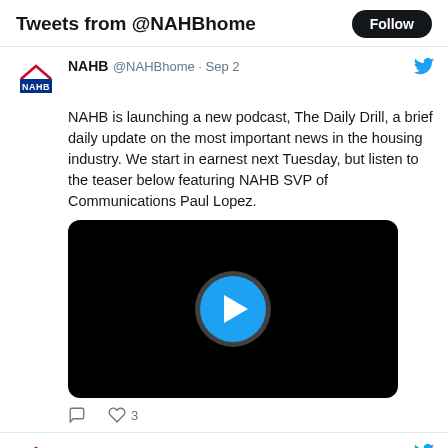Tweets from @NAHBhome
NAHB @NAHBhome · Sep 2
NAHB is launching a new podcast, The Daily Drill, a brief daily update on the most important news in the housing industry. We start in earnest next Tuesday, but listen to the teaser below featuring NAHB SVP of Communications Paul Lopez.
[Figure (screenshot): Video thumbnail with black background and blue play button circle in the center]
♡ 3
NAHB @NAHBhome · Sep 2